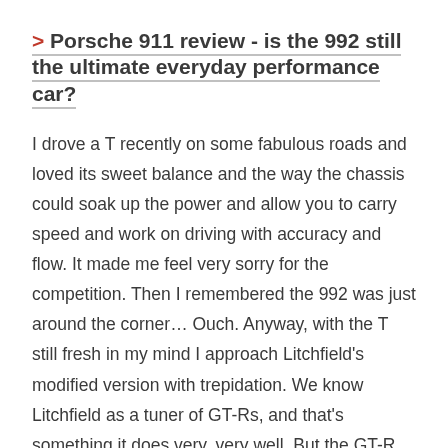> Porsche 911 review - is the 992 still the ultimate everyday performance car?
I drove a T recently on some fabulous roads and loved its sweet balance and the way the chassis could soak up the power and allow you to carry speed and work on driving with accuracy and flow. It made me feel very sorry for the competition. Then I remembered the 992 was just around the corner… Ouch. Anyway, with the T still fresh in my mind I approach Litchfield's modified version with trepidation. We know Litchfield as a tuner of GT-Rs, and that's something it does very, very well. But the GT-R just gets more and more GT-Ry as you throw